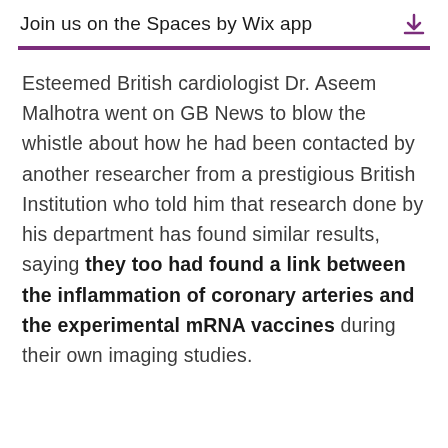Join us on the Spaces by Wix app
Esteemed British cardiologist Dr. Aseem Malhotra went on GB News to blow the whistle about how he had been contacted by another researcher from a prestigious British Institution who told him that research done by his department has found similar results, saying they too had found a link between the inflammation of coronary arteries and the experimental mRNA vaccines during their own imaging studies.